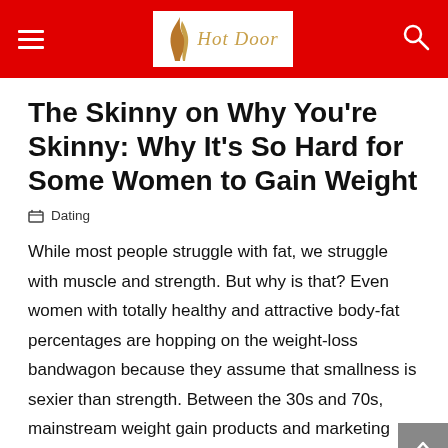Hot Door — navigation header with hamburger menu, logo, and search icon
The Skinny on Why You're Skinny: Why It's So Hard for Some Women to Gain Weight
Dating
While most people struggle with fat, we struggle with muscle and strength. But why is that? Even women with totally healthy and attractive body-fat percentages are hopping on the weight-loss bandwagon because they assume that smallness is sexier than strength. Between the 30s and 70s, mainstream weight gain products and marketing campaigns for skinny women were pretty